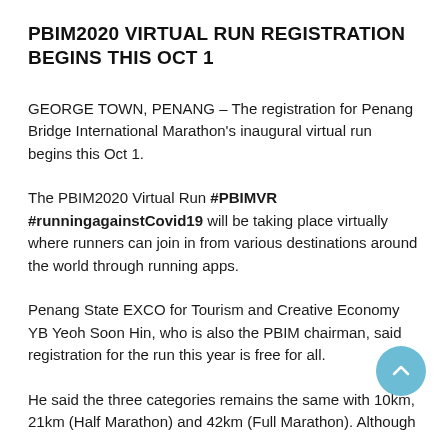PBIM2020 VIRTUAL RUN REGISTRATION BEGINS THIS OCT 1
GEORGE TOWN, PENANG – The registration for Penang Bridge International Marathon's inaugural virtual run begins this Oct 1.
The PBIM2020 Virtual Run #PBIMVR #runningagainstCovid19 will be taking place virtually where runners can join in from various destinations around the world through running apps.
Penang State EXCO for Tourism and Creative Economy YB Yeoh Soon Hin, who is also the PBIM chairman, said registration for the run this year is free for all.
He said the three categories remains the same with 10km, 21km (Half Marathon) and 42km (Full Marathon). Although